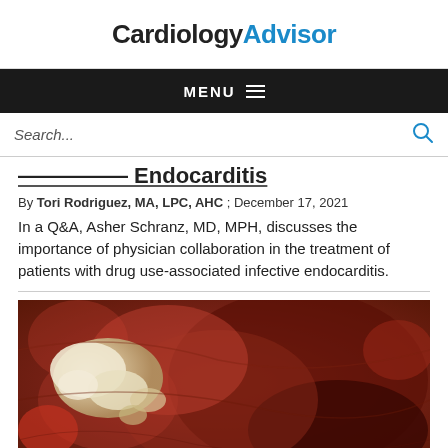Cardiology Advisor
MENU
Search...
Infective Endocarditis
By Tori Rodriguez, MA, LPC, AHC ; December 17, 2021
In a Q&A, Asher Schranz, MD, MPH, discusses the importance of physician collaboration in the treatment of patients with drug use-associated infective endocarditis.
[Figure (photo): Medical photograph showing infective endocarditis lesions on cardiac tissue — close-up surgical or autopsy image showing pale/white vegetation on reddish-brown heart valve tissue]